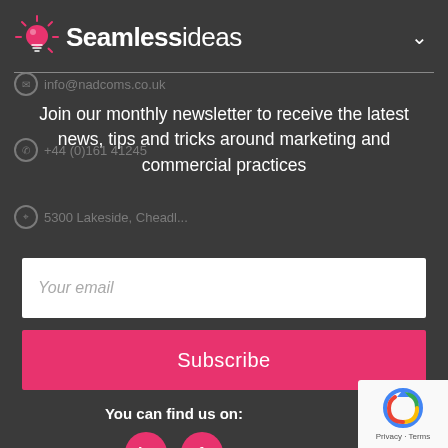[Figure (logo): Seamlessideas logo with pink lightbulb icon]
info@nadcoms.co.uk
Join our monthly newsletter to receive the latest news, tips and tricks around marketing and commercial practices
+44 (0)161 41245
5300 Lakeside, Cheadl...
Your email
Subscribe
You can find us on:
[Figure (logo): LinkedIn and Facebook social icons in pink circles]
[Figure (other): Google reCAPTCHA badge with Privacy and Terms links]